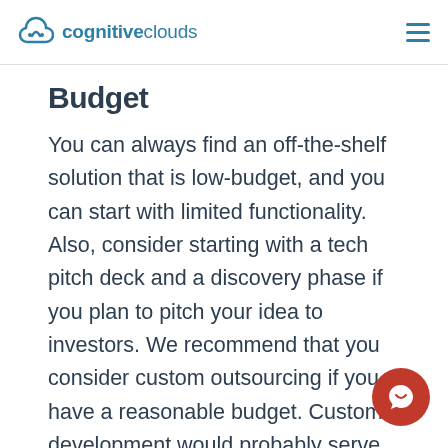cognitiveclouds
Budget
You can always find an off-the-shelf solution that is low-budget, and you can start with limited functionality. Also, consider starting with a tech pitch deck and a discovery phase if you plan to pitch your idea to investors. We recommend that you consider custom outsourcing if you have a reasonable budget. Custom development would probably serve you better in the long run as you can introduce unique